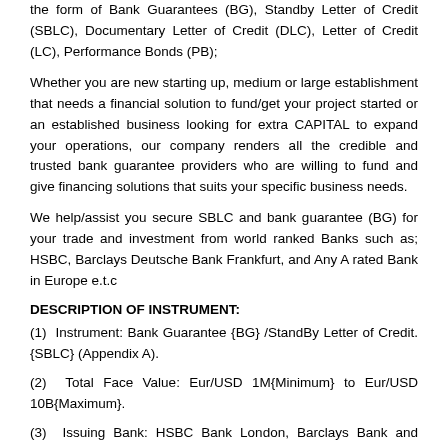the form of Bank Guarantees (BG), Standby Letter of Credit (SBLC), Documentary Letter of Credit (DLC), Letter of Credit (LC), Performance Bonds (PB);
Whether you are new starting up, medium or large establishment that needs a financial solution to fund/get your project started or an established business looking for extra CAPITAL to expand your operations, our company renders all the credible and trusted bank guarantee providers who are willing to fund and give financing solutions that suits your specific business needs.
We help/assist you secure SBLC and bank guarantee (BG) for your trade and investment from world ranked Banks such as; HSBC, Barclays Deutsche Bank Frankfurt, and Any A rated Bank in Europe e.t.c
DESCRIPTION OF INSTRUMENT:
(1)  Instrument: Bank Guarantee {BG} /StandBy Letter of Credit.{SBLC} (Appendix A).
(2)  Total Face Value: Eur/USD 1M{Minimum} to Eur/USD 10B{Maximum}.
(3)  Issuing Bank: HSBC Bank London, Barclays Bank and Deutsche Bank Frankfurt.